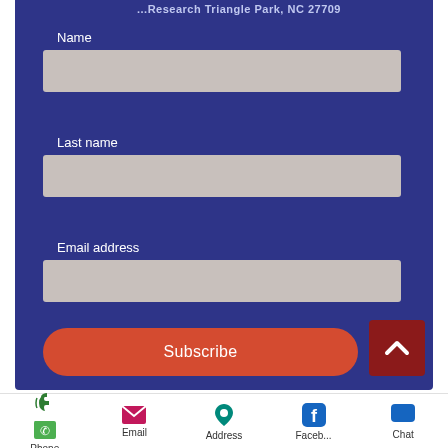...Research Triangle Park, NC 27709
Name
Last name
Email address
Subscribe
Phone
Email
Address
Faceb...
Chat